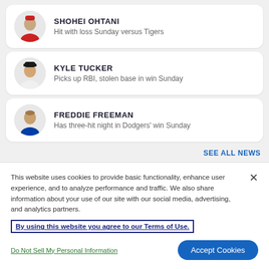SHOHEI OHTANI — Hit with loss Sunday versus Tigers
KYLE TUCKER — Picks up RBI, stolen base in win Sunday
FREDDIE FREEMAN — Has three-hit night in Dodgers' win Sunday
SEE ALL NEWS
This website uses cookies to provide basic functionality, enhance user experience, and to analyze performance and traffic. We also share information about your use of our site with our social media, advertising, and analytics partners.
By using this website you agree to our Terms of Use.
Do Not Sell My Personal Information
Accept Cookies